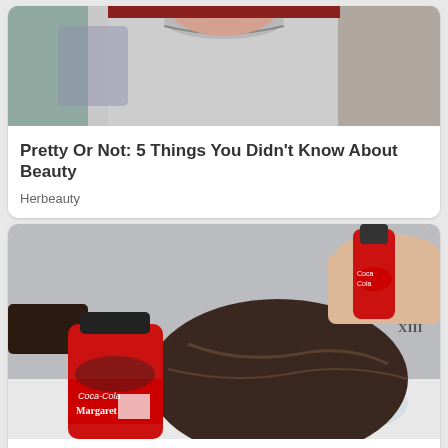[Figure (photo): Woman with red hair wearing a gray top with decorative neckline and tattoos visible on chest/shoulder area]
Pretty Or Not: 5 Things You Didn't Know About Beauty
Herbeauty
[Figure (photo): Person leaning over a glass bowl with head down, someone pouring Coca-Cola from a bottle onto their dark hair. A labeled Coca-Cola bottle sits on the table. Person has a Roman numeral tattoo on their wrist.]
Tips To Make Your Hair Grow Like Crazy
Herbeauty
Translate »